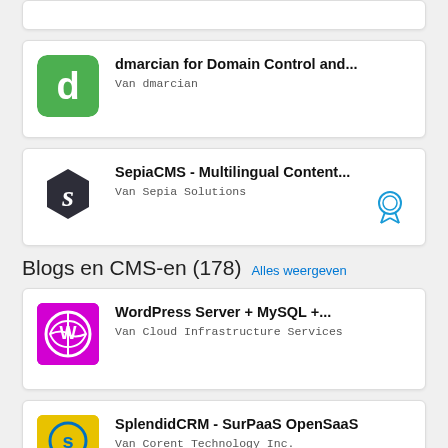[Figure (screenshot): App listing card stub at top (partially visible)]
dmarcian for Domain Control and...
Van dmarcian
SepiaCMS - Multilingual Content...
Van Sepia Solutions
Blogs en CMS-en (178)  Alles weergeven
WordPress Server + MySQL +...
Van Cloud Infrastructure Services
SplendidCRM - SurPaaS OpenSaaS
Van Corent Technology Inc.